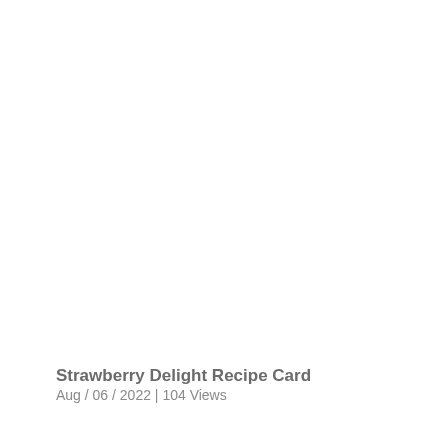Strawberry Delight Recipe Card
Aug / 06 / 2022 | 104 Views